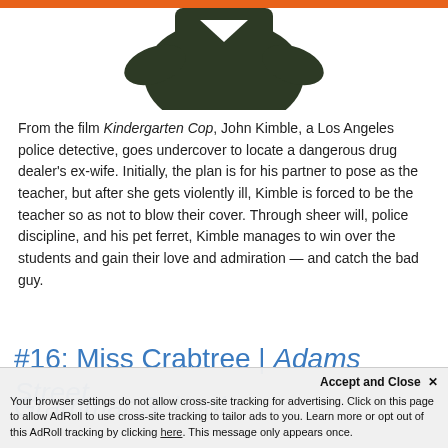[Figure (photo): Partial view of a dark green garment or shirt against a white background, with an orange bar at the very top]
From the film Kindergarten Cop, John Kimble, a Los Angeles police detective, goes undercover to locate a dangerous drug dealer’s ex-wife. Initially, the plan is for his partner to pose as the teacher, but after she gets violently ill, Kimble is forced to be the teacher so as not to blow their cover. Through sheer will, police discipline, and his pet ferret, Kimble manages to win over the students and gain their love and admiration — and catch the bad guy.
#16: Miss Crabtree | Adams Street Grammar School
Your browser settings do not allow cross-site tracking for advertising. Click on this page to allow AdRoll to use cross-site tracking to tailor ads to you. Learn more or opt out of this AdRoll tracking by clicking here. This message only appears once.